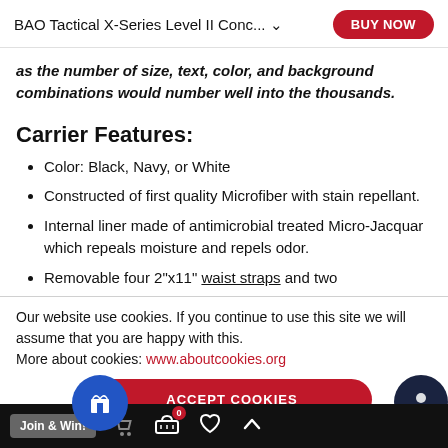BAO Tactical X-Series Level II Conc... BUY NOW
as the number of size, text, color, and background combinations would number well into the thousands.
Carrier Features:
Color: Black, Navy, or White
Constructed of first quality Microfiber with stain repellant.
Internal liner made of antimicrobial treated Micro-Jacquar which repeals moisture and repels odor.
Removable four 2"x11" waist straps and two
Our website use cookies. If you continue to use this site we will assume that you are happy with this.
More about cookies: www.aboutcookies.org
ACCEPT COOKIES
Join & Win!  0